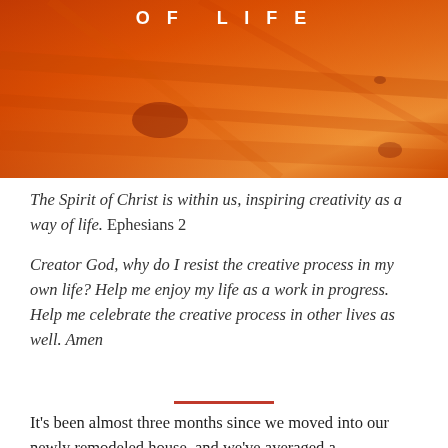[Figure (photo): Orange-red wood grain texture background with white bold text 'OF LIFE' at the top center]
The Spirit of Christ is within us, inspiring creativity as a way of life. Ephesians 2
Creator God, why do I resist the creative process in my own life? Help me enjoy my life as a work in progress. Help me celebrate the creative process in other lives as well. Amen
It's been almost three months since we moved into our newly remodeled house, and we've averaged a